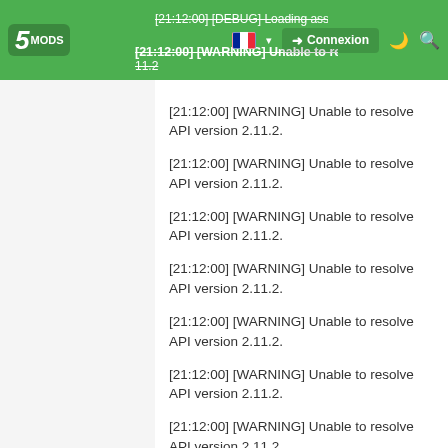5MODS navbar with Connexion button, flag selector, dark mode and search icons
[21:12:00] [WARNING] Unable to resolve API version 2.11.2.
[21:12:00] [WARNING] Unable to resolve API version 2.11.2.
[21:12:00] [WARNING] Unable to resolve API version 2.11.2.
[21:12:00] [WARNING] Unable to resolve API version 2.11.2.
[21:12:00] [WARNING] Unable to resolve API version 2.11.2.
[21:12:00] [WARNING] Unable to resolve API version 2.11.2.
[21:12:00] [WARNING] Unable to resolve API version 2.11.2.
[21:12:00] [WARNING] Unable to resolve API version 2.11.2.
[21:12:00] [WARNING] Unable to resolve API version 2.11.2.
[21:12:00] [DEBUG] Loading assembly NativeUI.dll ...
[21:12:00] [WARNING] Unable to resolve API version